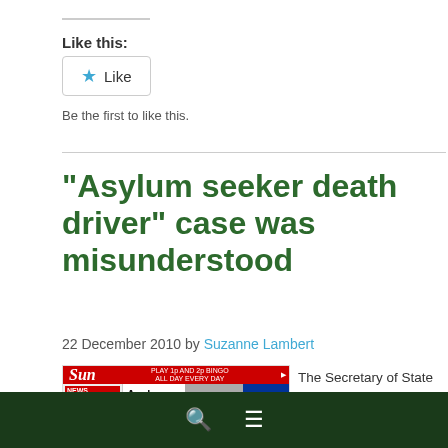Like this:
[Figure (other): Like button widget with star icon]
Be the first to like this.
“Asylum seeker death driver” case was misunderstood
22 December 2010 by Suzanne Lambert
[Figure (screenshot): Screenshot of The Sun newspaper front page showing headline 'Asylum seeker death driver stays']
The Secretary of State for the Home Department v Respondent [2010] UKUT
Search and menu navigation bar